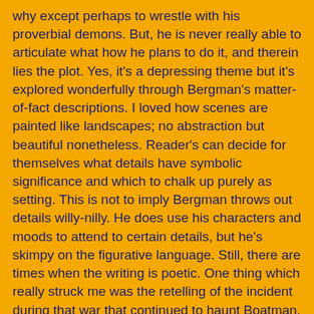why except perhaps to wrestle with his proverbial demons. But, he is never really able to articulate what how he plans to do it, and therein lies the plot. Yes, it's a depressing theme but it's explored wonderfully through Bergman's matter-of-fact descriptions. I loved how scenes are painted like landscapes; no abstraction but beautiful nonetheless. Reader's can decide for themselves what details have symbolic significance and which to chalk up purely as setting. This is not to imply Bergman throws out details willy-nilly. He does use his characters and moods to attend to certain details, but he's skimpy on the figurative language. Still, there are times when the writing is poetic. One thing which really struck me was the retelling of the incident during that war that continued to haunt Boatman. Specific details appear several times throughout the book but instead of feeling repetitive, I was able to feel how Boatman must have felt: like these memories would not go away.
It's not a book I'd recommend to everyone. As I said above, it's pretty depressing. Plus, some would say there's another sure way of knowing it's a Canadian novel: the resolution is pretty ambiguous. While I agree it has become tiresome in